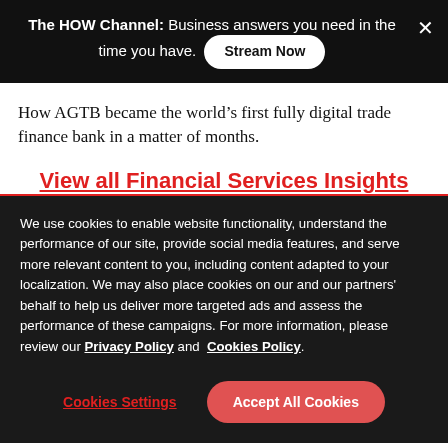The HOW Channel: Business answers you need in the time you have. Stream Now
How AGTB became the world's first fully digital trade finance bank in a matter of months.
View all Financial Services Insights
We use cookies to enable website functionality, understand the performance of our site, provide social media features, and serve more relevant content to you, including content adapted to your localization. We may also place cookies on our and our partners' behalf to help us deliver more targeted ads and assess the performance of these campaigns. For more information, please review our Privacy Policy and Cookies Policy.
Cookies Settings  Accept All Cookies